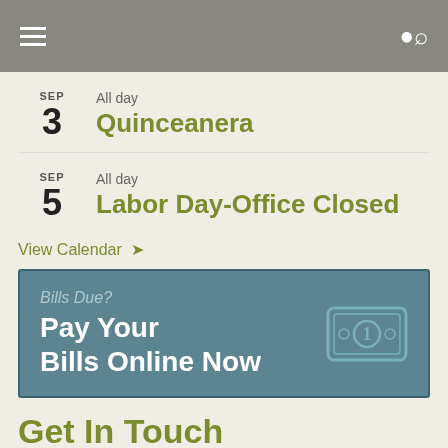Navigation bar with menu and search icons
SEP 3 — All day — Quinceanera
SEP 5 — All day — Labor Day-Office Closed
View Calendar →
[Figure (infographic): Teal banner ad reading 'Bills Due? Pay Your Bills Online Now' with a dollar bill icon]
Get In Touch